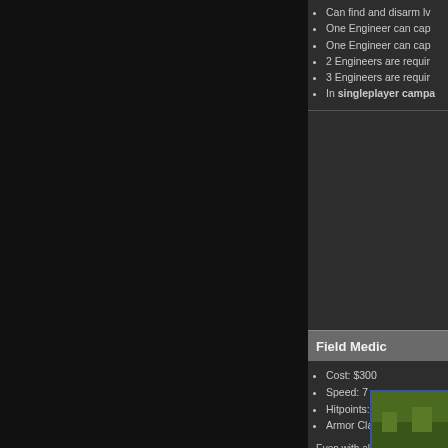Can find and disarm lv
One Engineer can cap
One Engineer can cap
2 Engineers are requir
3 Engineers are requir
In singleplayer campa
Field Medic
Cost: $300
Speed: 7
Hitpoints: 120
Armor Class: Flak
Even with all their armor and where every man counts, the underestimate his potential w